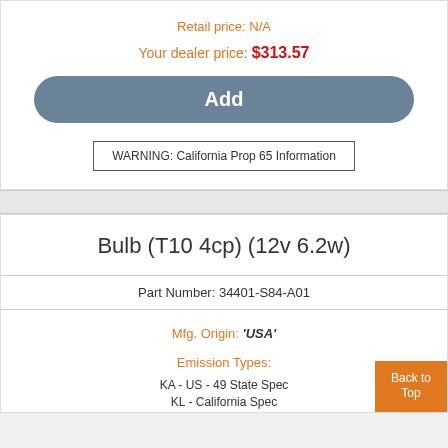Retail price: N/A
Your dealer price: $313.57
Add
WARNING: California Prop 65 Information
Bulb (T10 4cp) (12v 6.2w)
Part Number: 34401-S84-A01
Mfg. Origin: 'USA'
Emission Types:
KA - US - 49 State Spec
KL - California Spec
Back to Top